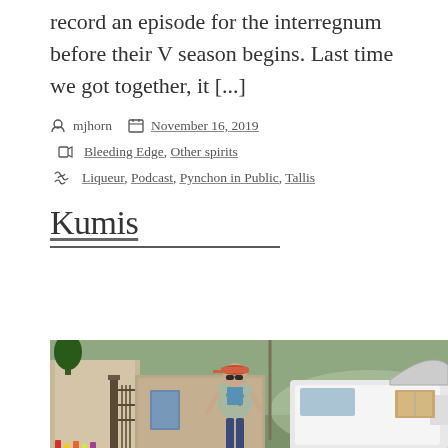record an episode for the interregnum before their V season begins. Last time we got together, it [...]
mjhorn   November 16, 2019
Bleeding Edge, Other spirits
Liqueur, Podcast, Pynchon in Public, Tallis
Kumis
[Figure (photo): A person wearing a pink visor and patterned jacket stands in front of an open car trunk with boxes and items inside, near a gate and brick building exterior.]